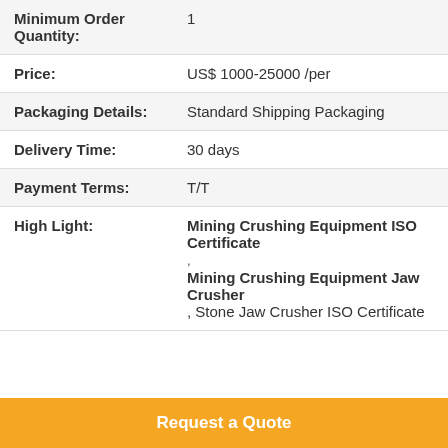| Minimum Order Quantity: | 1 |
| Price: | US$ 1000-25000 /per |
| Packaging Details: | Standard Shipping Packaging |
| Delivery Time: | 30 days |
| Payment Terms: | T/T |
| High Light: | Mining Crushing Equipment ISO Certificate , Mining Crushing Equipment Jaw Crusher , Stone Jaw Crusher ISO Certificate |
Request a Quote